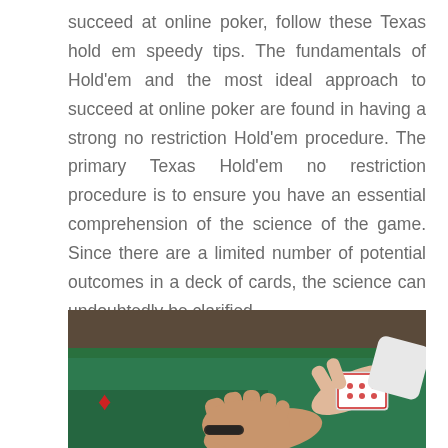succeed at online poker, follow these Texas hold em speedy tips. The fundamentals of Hold'em and the most ideal approach to succeed at online poker are found in having a strong no restriction Hold'em procedure. The primary Texas Hold'em no restriction procedure is to ensure you have an essential comprehension of the science of the game. Since there are a limited number of potential outcomes in a deck of cards, the science can undoubtedly be clarified.
[Figure (photo): A photo of two hands over a green poker table. One hand is open and palm-up, the other holds a deck of playing cards. A red card suit symbol is visible on the left side of the table.]